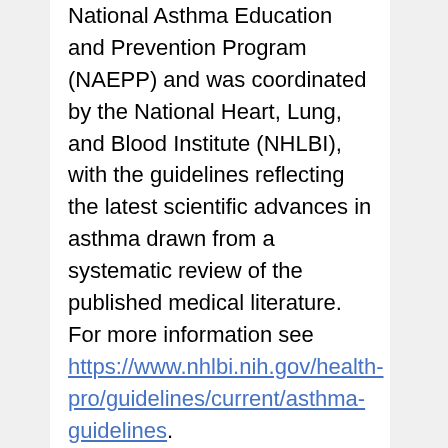National Asthma Education and Prevention Program (NAEPP) and was coordinated by the National Heart, Lung, and Blood Institute (NHLBI), with the guidelines reflecting the latest scientific advances in asthma drawn from a systematic review of the published medical literature.  For more information see https://www.nhlbi.nih.gov/health-pro/guidelines/current/asthma-guidelines.
Some of these best practices include:
Health care providers who